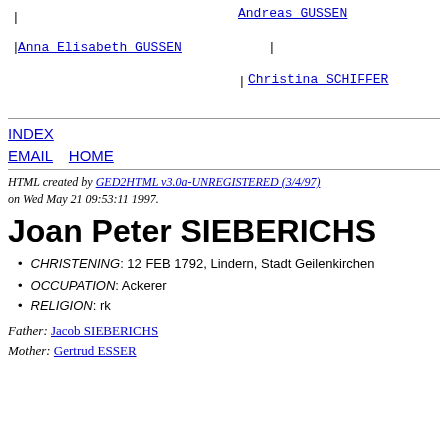[Figure (other): Genealogy tree diagram showing Andreas GUSSEN at top right, Anna Elisabeth GUSSEN in the middle left (linked), and Christina SCHIFFER at lower right, connected by vertical and horizontal pipe lines]
INDEX
EMAIL HOME
HTML created by GED2HTML v3.0a-UNREGISTERED (3/4/97) on Wed May 21 09:53:11 1997.
Joan Peter SIEBERICHS
CHRISTENING: 12 FEB 1792, Lindern, Stadt Geilenkirchen
OCCUPATION: Ackerer
RELIGION: rk
Father: Jacob SIEBERICHS
Mother: Gertrud ESSER